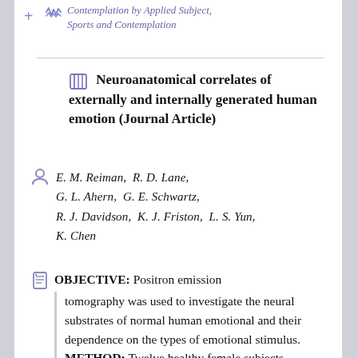Contemplation by Applied Subject, Sports and Contemplation
Neuroanatomical correlates of externally and internally generated human emotion (Journal Article)
E. M. Reiman, R. D. Lane, G. L. Ahern, G. E. Schwartz, R. J. Davidson, K. J. Friston, L. S. Yun, K. Chen
OBJECTIVE: Positron emission tomography was used to investigate the neural substrates of normal human emotional and their dependence on the types of emotional stimulus. METHOD: Twelve healthy female subjects underwent 12 measurements of